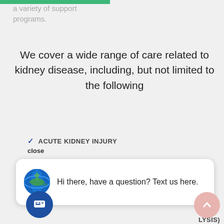a variety of support programs.
We cover a wide range of care related to kidney disease, including, but not limited to the following
ACUTE KIDNEY INJURY
close
[Figure (screenshot): Chat popup with a globe logo and message: Hi there, have a question? Text us here.]
LYSIS)
IPERTENSION (HIGH BLOOD PRESSURE)
ELECTROLYTE ABNORMALITIES